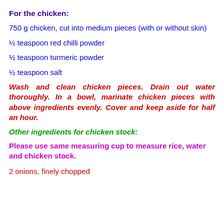For the chicken:
750 g chicken, cut into medium pieces (with or without skin)
½ teaspoon red chilli powder
½ teaspoon turmeric powder
½ teaspoon salt
Wash and clean chicken pieces. Drain out water thoroughly. In a bowl, marinate chicken pieces with above ingredients evenly. Cover and keep aside for half an hour.
Other ingredients for chicken stock:
Please use same measuring cup to measure rice,  water and chicken stock.
2 onions, finely chopped